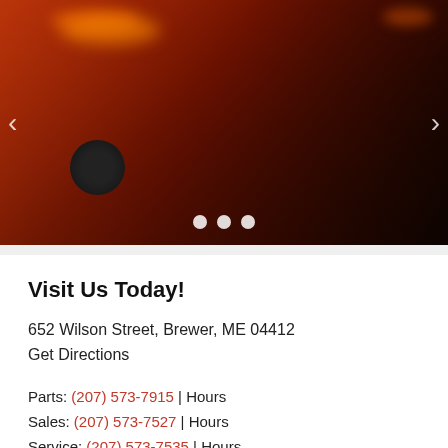[Figure (photo): Rear view of an orange/red Toyota Supra sports car with carousel navigation arrows and three dot indicators at the bottom]
Visit Us Today!
652 Wilson Street, Brewer, ME 04412
Get Directions
Parts: (207) 573-7915 | Hours
Sales: (207) 573-7527 | Hours
Service: (207) 573-7535 | Hours